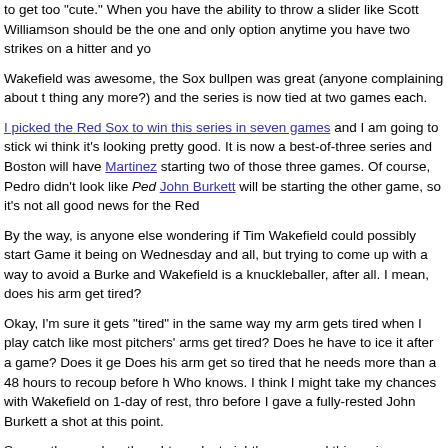to get too "cute." When you have the ability to throw a slider like Scott Williamson should be the one and only option anytime you have two strikes on a hitter and yo
Wakefield was awesome, the Sox bullpen was great (anyone complaining about t thing any more?) and the series is now tied at two games each.
I picked the Red Sox to win this series in seven games and I am going to stick wi think it's looking pretty good. It is now a best-of-three series and Boston will have Martinez starting two of those three games. Of course, Pedro didn't look like Ped John Burkett will be starting the other game, so it's not all good news for the Red
By the way, is anyone else wondering if Tim Wakefield could possibly start Game it being on Wednesday and all, but trying to come up with a way to avoid a Burke and Wakefield is a knuckleballer, after all. I mean, does his arm get tired?
Okay, I'm sure it gets "tired" in the same way my arm gets tired when I play catch like most pitchers' arms get tired? Does he have to ice it after a game? Does it ge Does his arm get so tired that he needs more than a 48 hours to recoup before h Who knows. I think I might take my chances with Wakefield on 1-day of rest, thro before I gave a fully-rested John Burkett a shot at this point.
Some other random thoughts on last night's game and this series...
Only fellow Bill Simmons fans will understand this, but when Jeff Nelson was call bullpen last night I suddenly thought of this...
"OH MY GOD! That's...that's...THAT'S JEFF NELSON'S MUSIC!"
I watched Don Zimmer's tearful apology yesterday and I now feel sort of sorry for very stupid and very wrong and that Pedro is getting far too much heat for defenc Zimmer is genuinely sorry for what he did and I can respect that.